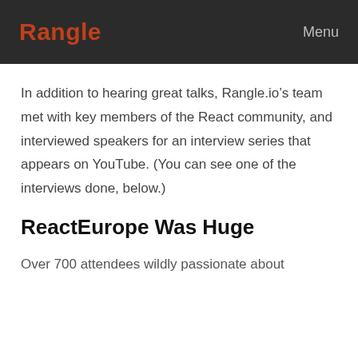Rangle | Menu
In addition to hearing great talks, Rangle.io’s team met with key members of the React community, and interviewed speakers for an interview series that appears on YouTube. (You can see one of the interviews done, below.)
ReactEurope Was Huge
Over 700 attendees wildly passionate about